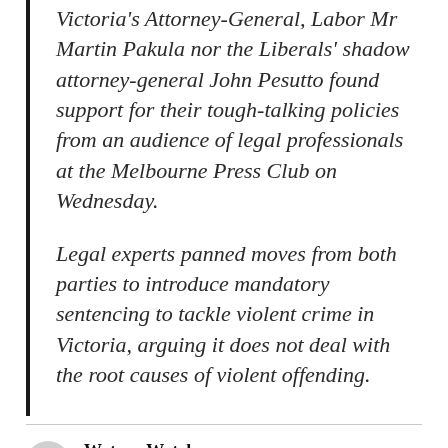Victoria's Attorney-General, Labor Mr Martin Pakula nor the Liberals' shadow attorney-general John Pesutto found support for their tough-talking policies from an audience of legal professionals at the Melbourne Press Club on Wednesday.
Legal experts panned moves from both parties to introduce mandatory sentencing to tackle violent crime in Victoria, arguing it does not deal with the root causes of violent offending.
Watson Watch
Saturday, November 3, 2018 at 11:19 am